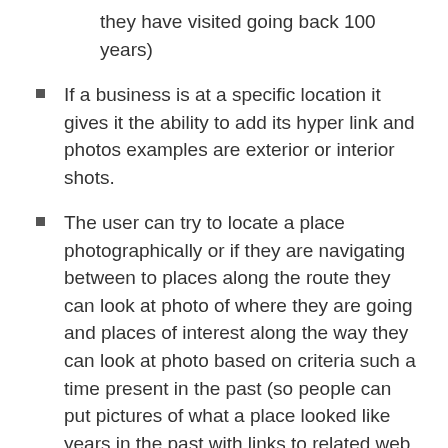they have visited going back 100 years)
If a business is at a specific location it gives it the ability to add its hyper link and photos examples are exterior or interior shots.
The user can try to locate a place photographically or if they are navigating between to places along the route they can look at photo of where they are going and places of interest along the way they can look at photo based on criteria such a time present in the past (so people can put pictures of what a place looked like years in the past with links to related web sites)
Pictures of related sites can be linked, (it should be able to work with the RealWorld II software so